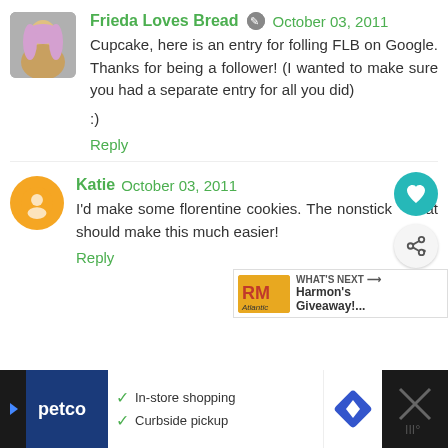Frieda Loves Bread  October 03, 2011
Cupcake, here is an entry for folling FLB on Google. Thanks for being a follower! (I wanted to make sure you had a separate entry for all you did)

:)
Reply
Katie  October 03, 2011
I'd make some florentine cookies. The nonstick at should make this much easier!
Reply
[Figure (screenshot): What's Next promo box showing RM Atlantic Harmon's Giveaway!...]
Katie  October 03, 2011
[Figure (screenshot): Bottom advertisement bar for Petco with In-store shopping and Curbside pickup options]